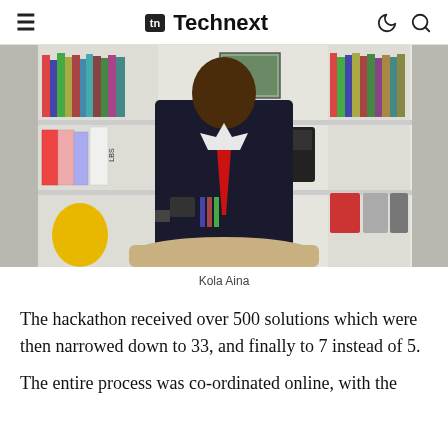Technext
[Figure (photo): A man in a dark suit and red tie leaning over a chair in an office with bookshelves behind him. Caption: Kola Aina]
Kola Aina
The hackathon received over 500 solutions which were then narrowed down to 33, and finally to 7 instead of 5.
The entire process was co-ordinated online, with the